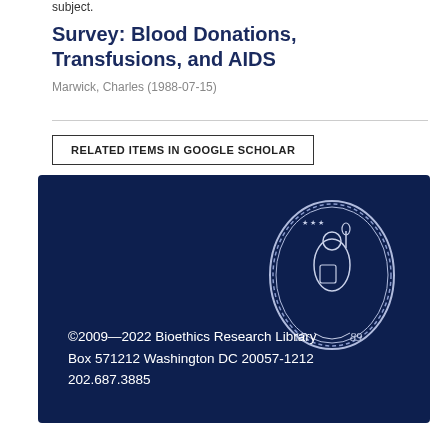subject.
Survey: Blood Donations, Transfusions, and AIDS
Marwick, Charles (1988-07-15)
RELATED ITEMS IN GOOGLE SCHOLAR
[Figure (logo): Georgetown University seal/crest on dark navy blue background with text: ©2009—2022 Bioethics Research Library Box 571212 Washington DC 20057-1212 202.687.3885]